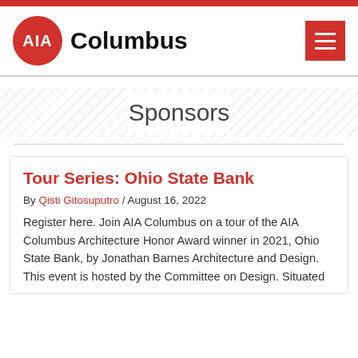[Figure (logo): AIA Columbus logo with red circle containing white AIA text and bold Columbus text beside it, plus red hamburger menu button]
Sponsors
Tour Series: Ohio State Bank
By Qisti Gitosuputro / August 16, 2022
Register here. Join AIA Columbus on a tour of the AIA Columbus Architecture Honor Award winner in 2021, Ohio State Bank, by Jonathan Barnes Architecture and Design. This event is hosted by the Committee on Design. Situated